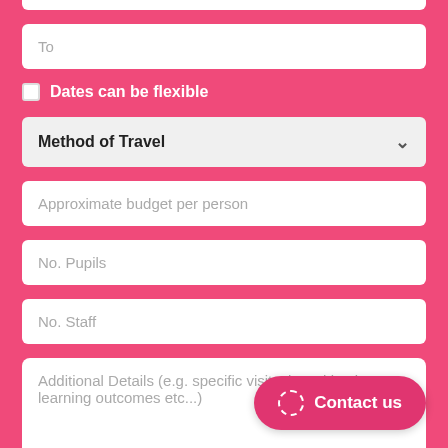To
Dates can be flexible
Method of Travel
Approximate budget per person
No. Pupils
No. Staff
Additional Details (e.g. specific visits, board basis, learning outcomes etc...)
Contact us